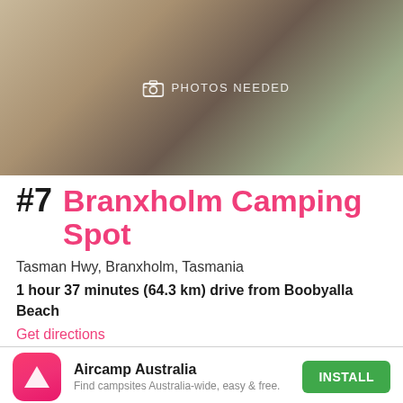[Figure (photo): Blurred outdoor photo with overlaid text 'PHOTOS NEEDED' and camera icon]
#7 Branxholm Camping Spot
Tasman Hwy, Branxholm, Tasmania
1 hour 37 minutes (64.3 km) drive from Boobyalla Beach
Get directions
✓ Toilets
Aircamp Australia
Find campsites Australia-wide, easy & free.